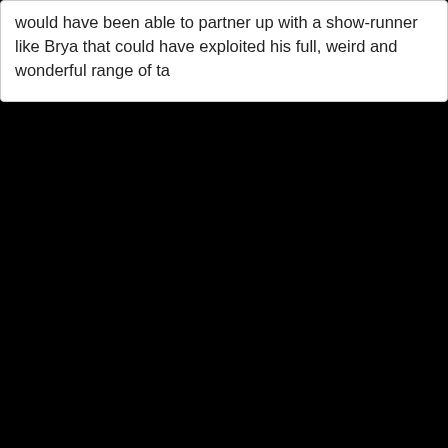would have been able to partner up with a show-runner like Brya that could have exploited his full, weird and wonderful range of ta